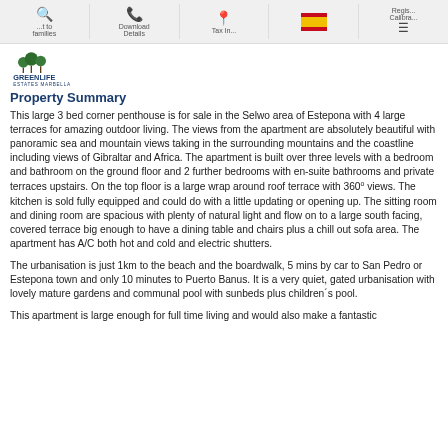Navigation bar with icons: search/to families, phone/Download Details, location pin/Tax Info, Spain flag, Register/Calibrate, hamburger menu
[Figure (logo): Greenlife Estates Marbella logo with stylized trees above text]
Property Summary
This large 3 bed corner penthouse is for sale in the Selwo area of Estepona with 4 large terraces for amazing outdoor living. The views from the apartment are absolutely beautiful with panoramic sea and mountain views taking in the surrounding mountains and the coastline including views of Gibraltar and Africa. The apartment is built over three levels with a bedroom and bathroom on the ground floor and 2 further bedrooms with en-suite bathrooms and private terraces upstairs. On the top floor is a large wrap around roof terrace with 360º views. The kitchen is sold fully equipped and could do with a little updating or opening up. The sitting room and dining room are spacious with plenty of natural light and flow on to a large south facing, covered terrace big enough to have a dining table and chairs plus a chill out sofa area. The apartment has A/C both hot and cold and electric shutters.
The urbanisation is just 1km to the beach and the boardwalk, 5 mins by car to San Pedro or Estepona town and only 10 minutes to Puerto Banus. It is a very quiet, gated urbanisation with lovely mature gardens and communal pool with sunbeds plus children´s pool.
This apartment is large enough for full time living and would also make a fantastic